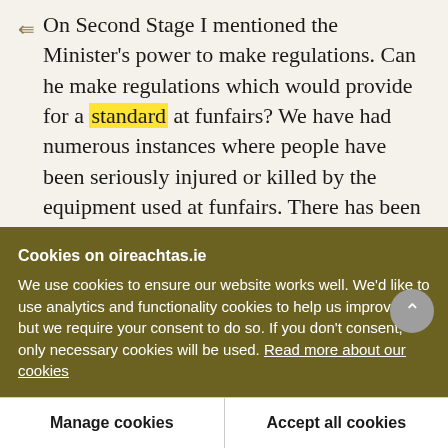On Second Stage I mentioned the Minister's power to make regulations. Can he make regulations which would provide for a standard at funfairs? We have had numerous instances where people have been seriously injured or killed by the equipment used at funfairs. There has been serious criticism because funfairs can be set up without any standard or supervision by local authorities. It is not
Cookies on oireachtas.ie
We use cookies to ensure our website works well. We'd like to use analytics and functionality cookies to help us improve it but we require your consent to do so. If you don't consent, only necessary cookies will be used. Read more about our cookies
Manage cookies
Accept all cookies